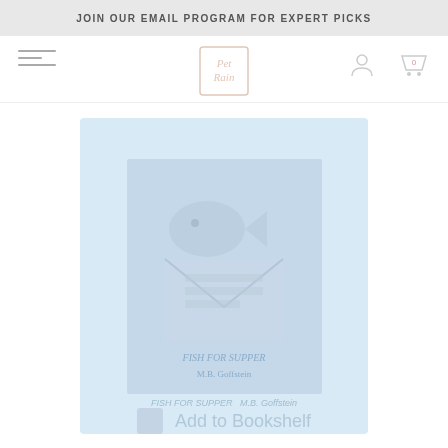JOIN OUR EMAIL PROGRAM FOR EXPERT PICKS
[Figure (logo): Pet Rain bookstore logo in a square border]
[Figure (illustration): Book cover for 'Fish for Supper' by M.B. Goffstein, light blue background with illustration of fish and envelope]
FISH FOR SUPPER
M.B. Goffstein
Add to Bookshelf